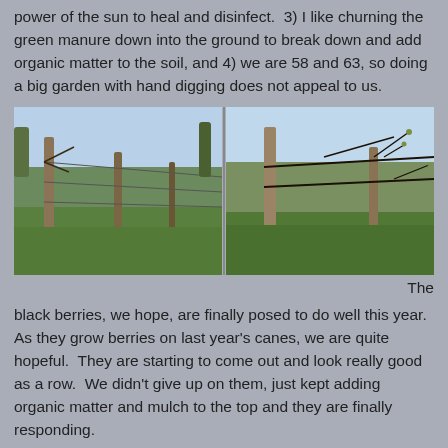power of the sun to heal and disinfect.  3) I like churning the green manure down into the ground to break down and add organic matter to the soil, and 4) we are 58 and 63, so doing a big garden with hand digging does not appeal to us.
[Figure (photo): Two side-by-side outdoor photos showing rows of blackberry or grape vines on wooden posts, with green grass underneath and bare branches, taken in early spring.]
The black berries, we hope, are finally posed to do well this year. As they grow berries on last year's canes, we are quite hopeful.  They are starting to come out and look really good as a row.  We didn't give up on them, just kept adding organic matter and mulch to the top and they are finally responding.
[Figure (photo): Outdoor photo showing a curved mulched garden row or path on a green lawn, with bare trees in the background.]